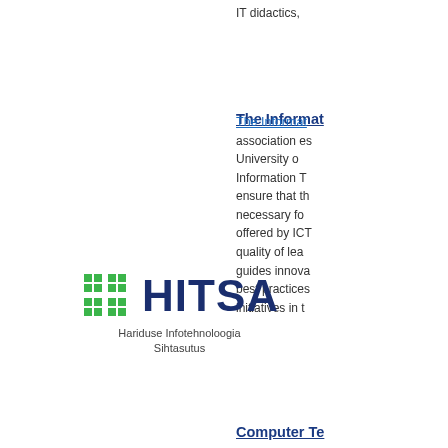IT didactics,
The Informat
The Informat association es University o Information T ensure that th necessary fo offered by ICT quality of lea guides innova best practices initiatives in t
[Figure (logo): HITSA logo — green hashtag symbol next to bold navy text 'HITSA' with subtitle 'Hariduse Infotehnoloogia Sihtasutus']
Computer Te